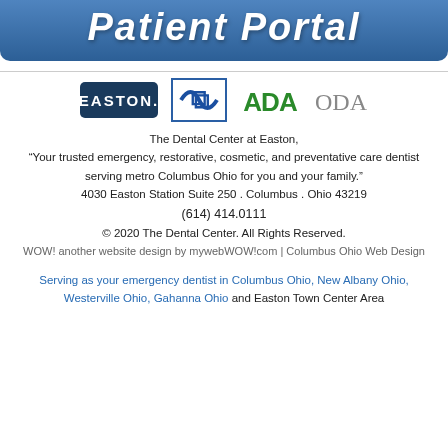[Figure (other): Patient Portal banner button with blue gradient background and bold italic white text reading 'Patient Portal']
[Figure (other): Row of four organization logos: Easton (dark blue rectangle), an abstract 'IC' symbol (blue), ADA (green text), ODA (grey text)]
The Dental Center at Easton,
“Your trusted emergency, restorative, cosmetic, and preventative care dentist serving metro Columbus Ohio for you and your family.”
4030 Easton Station Suite 250 . Columbus . Ohio 43219
(614) 414.0111
© 2020 The Dental Center. All Rights Reserved.
WOW! another website design by mywebWOW!com | Columbus Ohio Web Design
Serving as your emergency dentist in Columbus Ohio, New Albany Ohio, Westerville Ohio, Gahanna Ohio and Easton Town Center Area